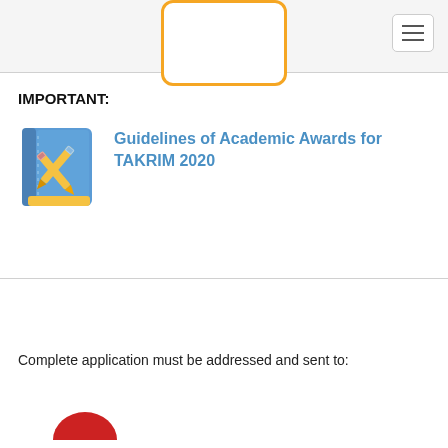IMPORTANT:
[Figure (illustration): Blue book icon with crossed pencil and pen on the cover]
Guidelines of Academic Awards for TAKRIM 2020
Complete application must be addressed and sent to: